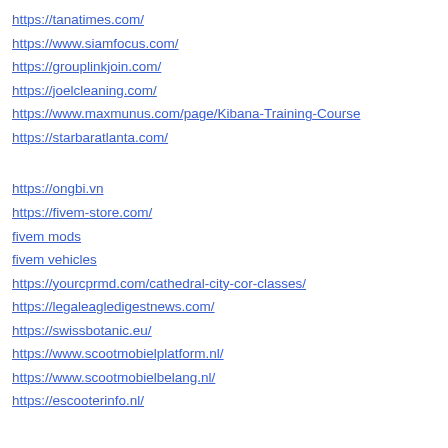https://tanatimes.com/
https://www.siamfocus.com/
https://grouplinkjoin.com/
https://joelcleaning.com/
https://www.maxmunus.com/page/Kibana-Training-Course
https://starbaratlanta.com/
https://ongbi.vn
https://fivem-store.com/
fivem mods
fivem vehicles
https://yourcprmd.com/cathedral-city-cor-classes/
https://legaleagledigestnews.com/
https://swissbotanic.eu/
https://www.scootmobielplatform.nl/
https://www.scootmobielbelang.nl/
https://escooterinfo.nl/